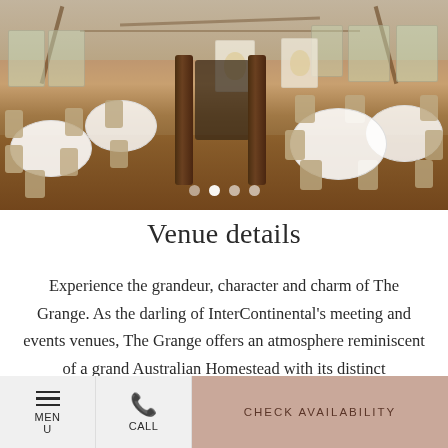[Figure (photo): Interior of The Grange banquet/event hall showing round tables with white linens, gold/beige chairs, wooden pillars, warm timber floors, exposed cathedral-like roof beams, and windows along the walls.]
Venue details
Experience the grandeur, character and charm of The Grange. As the darling of InterContinental's meeting and events venues, The Grange offers an atmosphere reminiscent of a grand Australian Homestead with its distinct architectural design. From the cathedral-like
MENU  CALL  CHECK AVAILABILITY